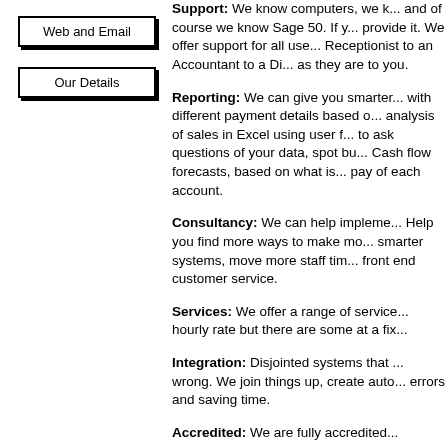Web and Email
Our Details
Support: We know computers, we k... and of course we know Sage 50. If y... provide it. We offer support for all use... Receptionist to an Accountant to a Di... as they are to you.
Reporting: We can give you smarter... with different payment details based o... analysis of sales in Excel using user f... to ask questions of your data, spot bu... Cash flow forecasts, based on what is... pay of each account.
Consultancy: We can help impleme... Help you find more ways to make mo... smarter systems, move more staff tim... front end customer service.
Services: We offer a range of service... hourly rate but there are some at a fix...
Integration: Disjointed systems that ... wrong. We join things up, create auto... errors and saving time.
Accredited: We are fully accredited...